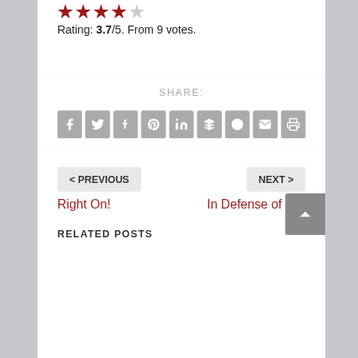Rating: 3.7/5. From 9 votes.
SHARE:
[Figure (infographic): Row of 9 social share icon buttons: Facebook, Twitter, Tumblr, Pinterest, LinkedIn, Buffer/layers, StumbleUpon, Email, Print — all grey rounded square icons]
< PREVIOUS
Right On!
NEXT >
In Defense of Joe
RELATED POSTS